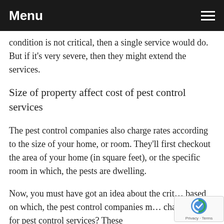Menu
condition is not critical, then a single service would do. But if it's very severe, then they might extend the services.
Size of property affect cost of pest control services
The pest control companies also charge rates according to the size of your home, or room. They'll first checkout the area of your home (in square feet), or the specific room in which, the pests are dwelling.
Now, you must have got an idea about the crit… based on which, the pest control companies m… charge you for pest control services? These